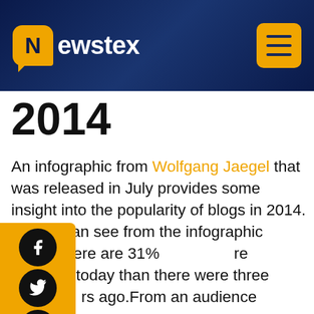Newstex
2014
An infographic from Wolfgang Jaegel that was released in July provides some insight into the popularity of blogs in 2014. As you can see from the infographic below, there are 31% more bloggers today than there were three years ago.From an audience perspective, blogs are also gaining in popularity. Nearly one out of two people (46%) read blogs more than once per day. In fact, most people read to six blogs each day.The infographic also